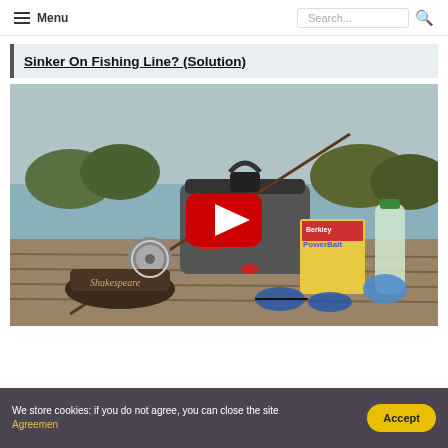Menu | Search...
Sinker On Fishing Line? (Solution)
[Figure (screenshot): YouTube video thumbnail showing fishing gear including a Shakespeare cap, tackle bag, PowerBait packaging, water bottle, sunglasses, and fishing rod on a wooden dock with water in the background. A red YouTube play button is overlaid in the center.]
We store cookies: if you do not agree, you can close the site Agreemen